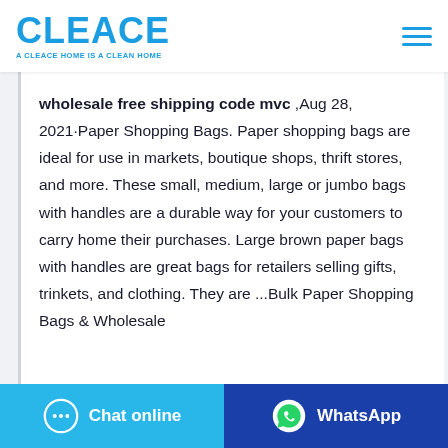CLEACE — A CLEACE HOME IS A CLEAN HOME
wholesale free shipping code mvc ,Aug 28, 2021·Paper Shopping Bags. Paper shopping bags are ideal for use in markets, boutique shops, thrift stores, and more. These small, medium, large or jumbo bags with handles are a durable way for your customers to carry home their purchases. Large brown paper bags with handles are great bags for retailers selling gifts, trinkets, and clothing. They are ...Bulk Paper Shopping Bags & Wholesale